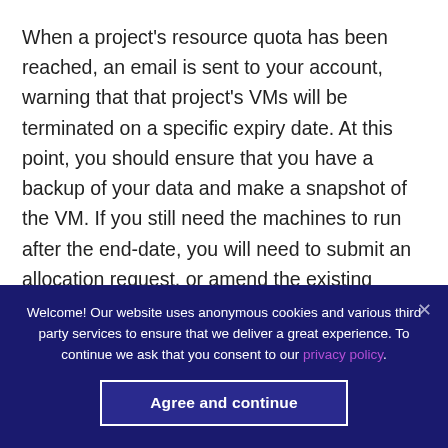When a project's resource quota has been reached, an email is sent to your account, warning that that project's VMs will be terminated on a specific expiry date. At this point, you should ensure that you have a backup of your data and make a snapshot of the VM. If you still need the machines to run after the end-date, you will need to submit an allocation request, or amend the existing request with a new date.
Last updated: 20 Mar 2019
Welcome! Our website uses anonymous cookies and various third party services to ensure that we deliver a great experience. To continue we ask that you consent to our privacy policy.
Agree and continue